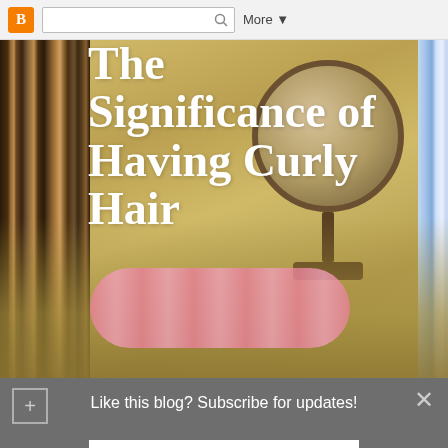B [search] More ▼
[Figure (photo): Blog header image showing a vanity/dresser scene with pink hair rollers, a round mirror on a stand, and a brush, with a warm golden/olive background. Bookshelves visible on the left and right edges.]
The Significance of Having Curly Hair
Like this blog? Subscribe for updates!
Address
Your email
Submit!